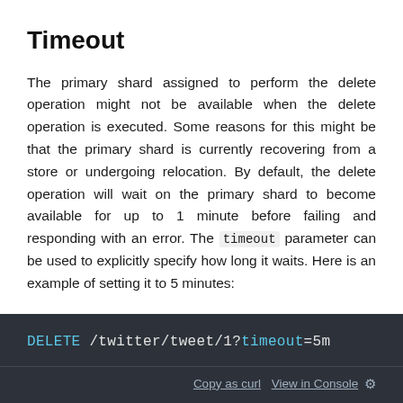Timeout
The primary shard assigned to perform the delete operation might not be available when the delete operation is executed. Some reasons for this might be that the primary shard is currently recovering from a store or undergoing relocation. By default, the delete operation will wait on the primary shard to become available for up to 1 minute before failing and responding with an error. The timeout parameter can be used to explicitly specify how long it waits. Here is an example of setting it to 5 minutes:
[Figure (screenshot): Dark-themed code block showing: DELETE /twitter/tweet/1?timeout=5m with a footer containing 'Copy as curl' and 'View in Console' links.]